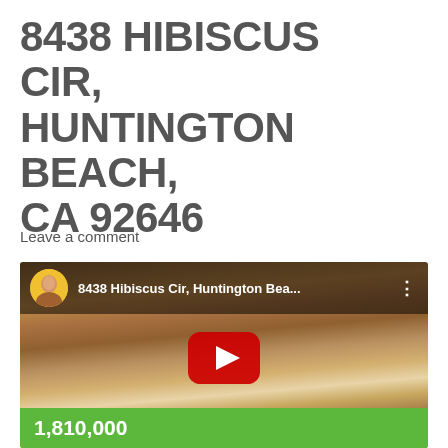8438 Hibiscus Cir, Huntington Beach, CA 92646
Leave a comment
[Figure (screenshot): YouTube video thumbnail showing a kitchen interior with wood cabinets, granite island countertop, and stainless appliances. Video title shows '8438 Hibiscus Cir, Huntington Bea...' with a circular avatar of a man and a red YouTube play button in the center. A green price bar at the bottom shows '1,810,000'.]